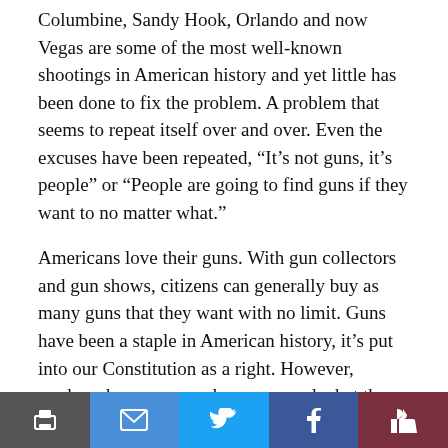Columbine, Sandy Hook, Orlando and now Vegas are some of the most well-known shootings in American history and yet little has been done to fix the problem. A problem that seems to repeat itself over and over. Even the excuses have been repeated, “It’s not guns, it’s people” or “People are going to find guns if they want to no matter what.”
Americans love their guns. With gun collectors and gun shows, citizens can generally buy as many guns that they want with no limit. Guns have been a staple in American history, it’s put into our Constitution as a right. However, modern day weaponry has surpassed what the founding fathers had in mind and probably could never even fathom. They had muskets, we have fully automatic assault rifles that can fire hundreds of rounds in minutes. It took 20 seconds to a minute for a musket to reload and shoot once. Now we can shoot a 30 round magazine and reload in that time with assault rifles.